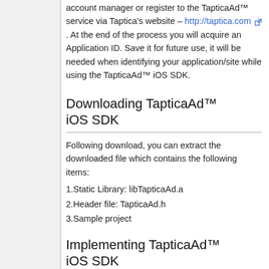account manager or register to the TapticaAd™ service via Taptica's website – http://taptica.com. At the end of the process you will acquire an Application ID. Save it for future use, it will be needed when identifying your application/site while using the TapticaAd™ iOS SDK.
Downloading TapticaAd™ iOS SDK
Following download, you can extract the downloaded file which contains the following items:
1.Static Library: libTapticaAd.a
2.Header file: TapticaAd.h
3.Sample project
Implementing TapticaAd™ iOS SDK
To implement the TapticaAd™ iOS SDK: